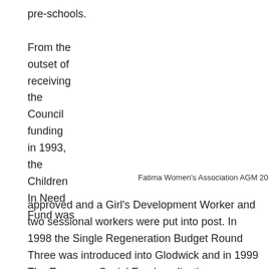pre-schools.

From the outset of receiving the Council funding in 1993, the Children In Need Fund was
Fatima Women's Association AGM 2019
approved and a Girl's Development Worker and two sessional workers were put into post. In 1998 the Single Regeneration Budget Round Three was introduced into Glodwick and in 1999 The European Social Fund applications were approved, which enabled the association to double its workforce and outputs. These posts have been successfully sustained to the present day. The association has a pool of volunteers it can call upon